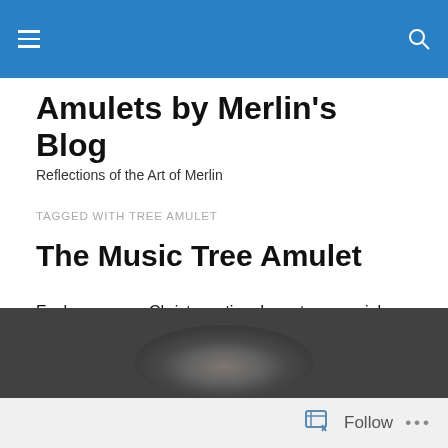Amulets by Merlin's Blog [navigation bar]
Amulets by Merlin's Blog
Reflections of the Art of Merlin
TAGGED WITH TREE AMULET
The Music Tree Amulet
Each year near Christmas time I create a special pendant for my piano students. This year I offered: The Music Tree.
[Figure (photo): Dark atmospheric photo, partially visible at bottom of page]
Follow ...